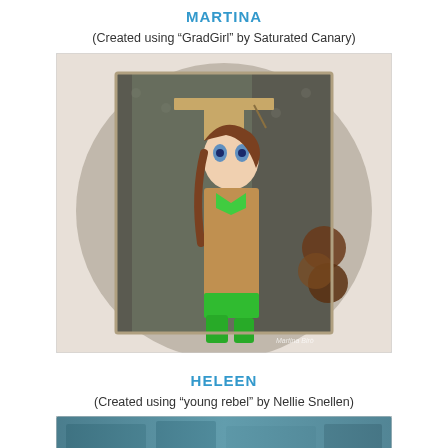MARTINA
(Created using “GradGirl” by Saturated Canary)
[Figure (photo): Handmade graduation card featuring a cartoon girl character in a brown graduation gown and green accessories, wearing a graduation cap, standing in front of a circular card base with dark patterned paper and the word 'congratulations' written vertically. Brown fabric flowers on the right side. Watermark reads 'Martina Birò'.]
HELEEN
(Created using “young rebel” by Nellie Snellen)
[Figure (photo): Bottom portion of a handmade card using 'young rebel' stamp by Nellie Snellen, partially visible with teal/blue colors.]